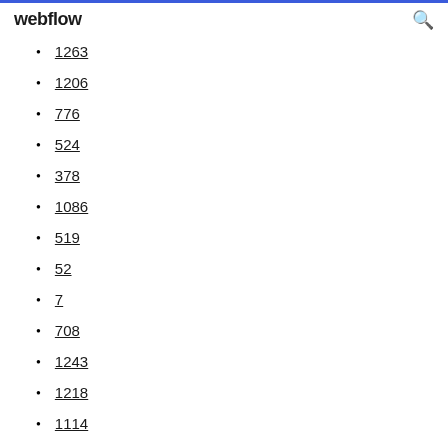webflow
1263
1206
776
524
378
1086
519
52
7
708
1243
1218
1114